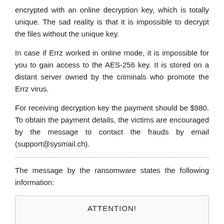encrypted with an online decryption key, which is totally unique. The sad reality is that it is impossible to decrypt the files without the unique key.
In case if Errz worked in online mode, it is impossible for you to gain access to the AES-256 key. It is stored on a distant server owned by the criminals who promote the Errz virus.
For receiving decryption key the payment should be $980. To obtain the payment details, the victims are encouraged by the message to contact the frauds by email (support@sysmail.ch).
The message by the ransomware states the following information:
ATTENTION!